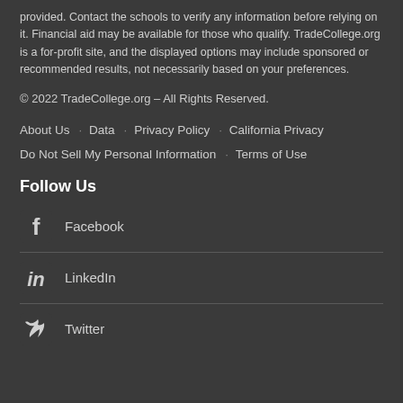provided. Contact the schools to verify any information before relying on it. Financial aid may be available for those who qualify. TradeCollege.org is a for-profit site, and the displayed options may include sponsored or recommended results, not necessarily based on your preferences.
© 2022 TradeCollege.org – All Rights Reserved.
About Us · Data · Privacy Policy · California Privacy · Do Not Sell My Personal Information · Terms of Use
Follow Us
Facebook
LinkedIn
Twitter